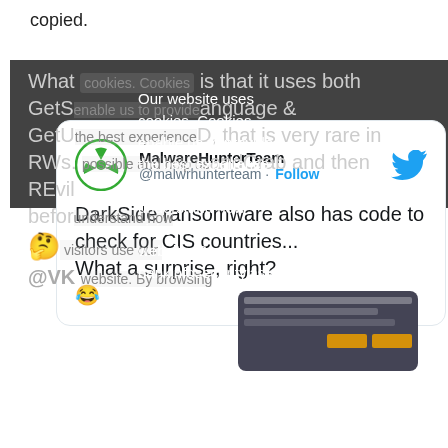copied.
[Figure (screenshot): Tweet from MalwareHunterTeam (@malwrhunterteam) with Follow button and Twitter bird logo. Tweet text: 'DarkSide ransomware also has code to check for CIS countries... What a surprise, right? 😂 What [cookie overlay] is that it uses both GetSystemDefaultUILanguage & GetUserDefaultUILanguage [ID], that is very rare in RWs. [possible] GandCrab and then REvil before[...] 🤔 @VK[...] [screenshot thumbnail]'. A cookie consent banner overlays the lower portion reading: 'Our website uses cookies. Cookies enable us to provide the best experience possible and help us understand how visitors use our website. By browsing bankinfosecurity.asia, you agree to our use of cookies.' with a close (×) button.]